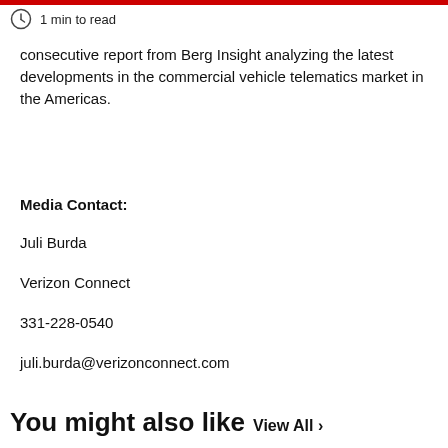1 min to read
consecutive report from Berg Insight analyzing the latest developments in the commercial vehicle telematics market in the Americas.
Media Contact:
Juli Burda
Verizon Connect
331-228-0540
juli.burda@verizonconnect.com
You might also like  View All >